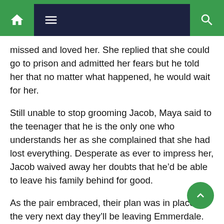Navigation bar with home, menu, and search icons
missed and loved her. She replied that she could go to prison and admitted her fears but he told her that no matter what happened, he would wait for her.
Still unable to stop grooming Jacob, Maya said to the teenager that he is the only one who understands her as she complained that she had lost everything. Desperate as ever to impress her, Jacob waived away her doubts that he’d be able to leave his family behind for good.
As the pair embraced, their plan was in place – the very next day they’ll be leaving Emmerdale. The only thing that seems set to put paid to their plan is if Maya is incarcerated.
Will the fact that she has been with Jacob again and hatched this plan come back and haunt her – and lead to a custodial sentence?